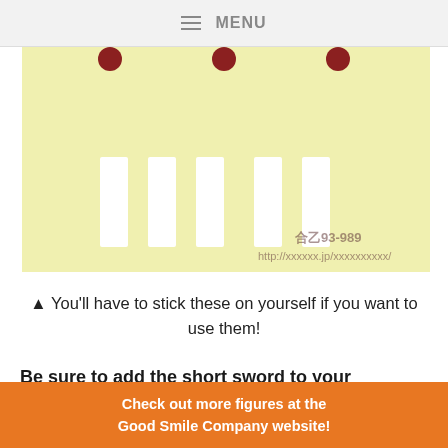MENU
[Figure (illustration): A yellow board or card hung with dark red tacks at the top, showing five white vertical rectangular strips arranged in a row, resembling stickers or labels. A watermark with Japanese text and URL appears in the lower right corner.]
▲ You'll have to stick these on yourself if you want to use them!
Be sure to add the short sword to your collection!
Check out more figures at the Good Smile Company website!